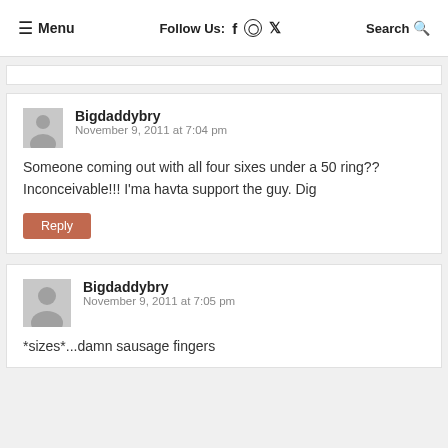≡ Menu   Follow Us: f ⊙ 🐦   Search 🔍
Bigdaddybry
November 9, 2011 at 7:04 pm
Someone coming out with all four sixes under a 50 ring?? Inconceivable!!! I'ma havta support the guy. Dig
Reply
Bigdaddybry
November 9, 2011 at 7:05 pm
*sizes*...damn sausage fingers